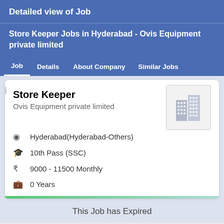Detailed view of Job
Store Keeper Jobs in Hyderabad - Ovis Equipment private limited
Job | Details | About Company | Similar Jobs
Store Keeper
Ovis Equipment private limited
Hyderabad(Hyderabad-Others)
10th Pass (SSC)
9000 - 11500 Monthly
0 Years
This Job has Expired